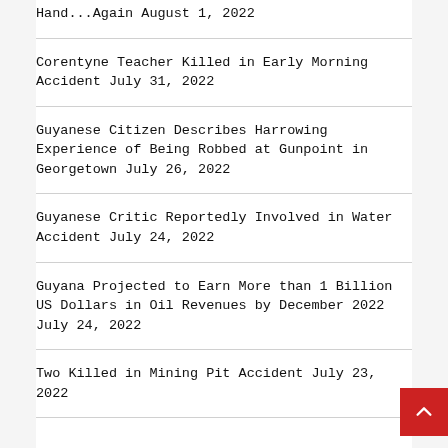Hand...Again August 1, 2022
Corentyne Teacher Killed in Early Morning Accident July 31, 2022
Guyanese Citizen Describes Harrowing Experience of Being Robbed at Gunpoint in Georgetown July 26, 2022
Guyanese Critic Reportedly Involved in Water Accident July 24, 2022
Guyana Projected to Earn More than 1 Billion US Dollars in Oil Revenues by December 2022 July 24, 2022
Two Killed in Mining Pit Accident July 23, 2022